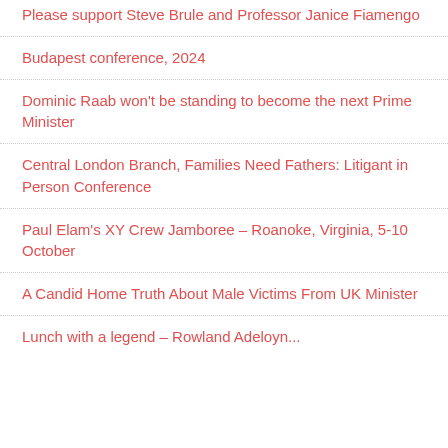Please support Steve Brule and Professor Janice Fiamengo
Budapest conference, 2024
Dominic Raab won't be standing to become the next Prime Minister
Central London Branch, Families Need Fathers: Litigant in Person Conference
Paul Elam's XY Crew Jamboree – Roanoke, Virginia, 5-10 October
A Candid Home Truth About Male Victims From UK Minister
Lunch with a legend – Rowland Adeloyn...